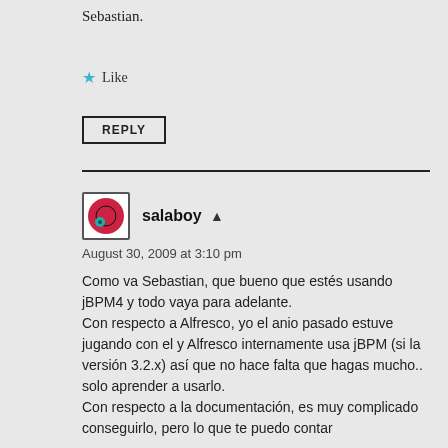Sebastian.
Like
REPLY
salaboy
August 30, 2009 at 3:10 pm
Como va Sebastian, que bueno que estés usando jBPM4 y todo vaya para adelante.
Con respecto a Alfresco, yo el anio pasado estuve jugando con el y Alfresco internamente usa jBPM (si la versión 3.2.x) así que no hace falta que hagas mucho.. solo aprender a usarlo.
Con respecto a la documentación, es muy complicado conseguirlo, pero lo que te puedo contar